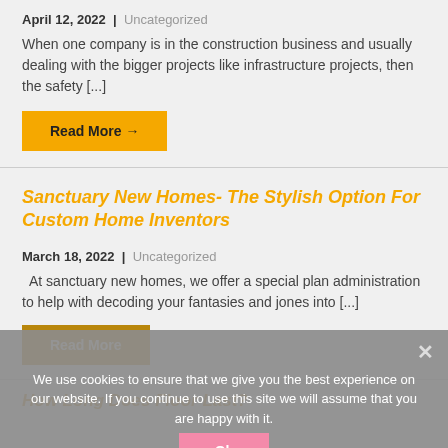April 12, 2022  |  Uncategorized
When one company is in the construction business and usually dealing with the bigger projects like infrastructure projects, then the safety [...]
Read More →
Sanctuary New Homes- The Stylish Option For Custom Home Inventors
March 18, 2022  |  Uncategorized
At sanctuary new homes, we offer a special plan administration to help with decoding your fantasies and jones into [...]
Read More
How Long Does Floor Last?
We use cookies to ensure that we give you the best experience on our website. If you continue to use this site we will assume that you are happy with it.
Ok